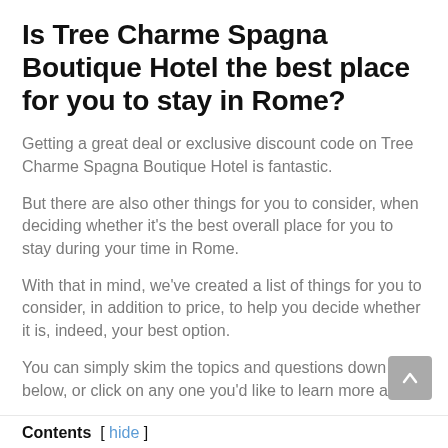Is Tree Charme Spagna Boutique Hotel the best place for you to stay in Rome?
Getting a great deal or exclusive discount code on Tree Charme Spagna Boutique Hotel is fantastic.
But there are also other things for you to consider, when deciding whether it’s the best overall place for you to stay during your time in Rome.
With that in mind, we’ve created a list of things for you to consider, in addition to price, to help you decide whether it is, indeed, your best option.
You can simply skim the topics and questions down below, or click on any one you’d like to learn more about.
Contents [ hide ]